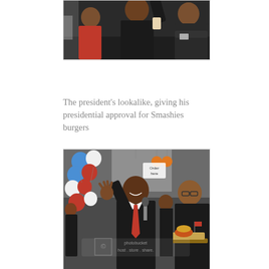[Figure (photo): Three people in dark clothing standing together in what appears to be a restaurant or fast food setting. A person in red on the left, a taller person in center wearing dark clothing with arm raised, and a person in dark clothing on the right with arms crossed.]
The president's lookalike, giving his presidential approval for Smashies burgers
[Figure (photo): An Obama lookalike in a dark suit with red tie stands waving and smiling, holding a microphone. To his left are red, white, and blue balloons. To his right, a woman in black holds a tray with food. An 'Order here' sign is visible in the background. Photobucket watermark is overlaid on the image.]